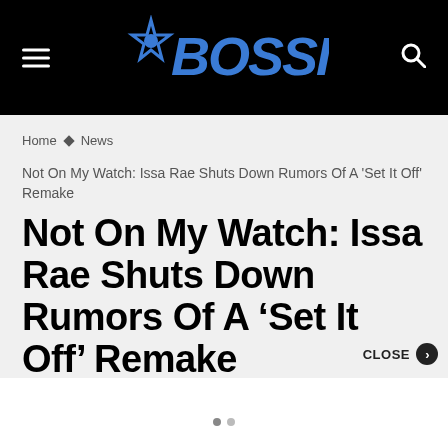BOSSIP
Home > News
Not On My Watch: Issa Rae Shuts Down Rumors Of A 'Set It Off' Remake
Not On My Watch: Issa Rae Shuts Down Rumors Of A ‘Set It Off’ Remake